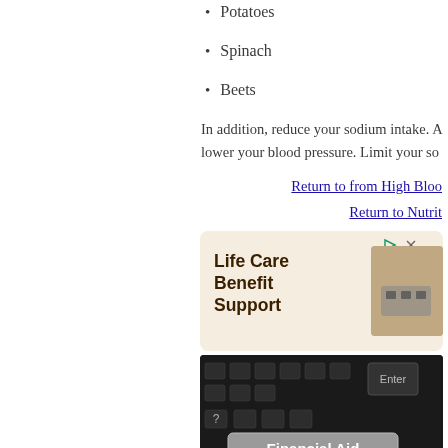Potatoes
Spinach
Beets
In addition, reduce your sodium intake. A lower your blood pressure. Limit your so
Return to from High Bloo
Return to Nutrit
[Figure (infographic): Advertisement banner with beige background showing 'Life Care Benefit Support' text in dark brown, with a partial image of hands on right side and ad controls (play/close icons) at top right.]
[Figure (photo): Close-up photo of a dark keyboard with an 'Enter' key visible and a key labeled 'Financial Aid' highlighted in gray/white, with a question mark key visible on the left.]